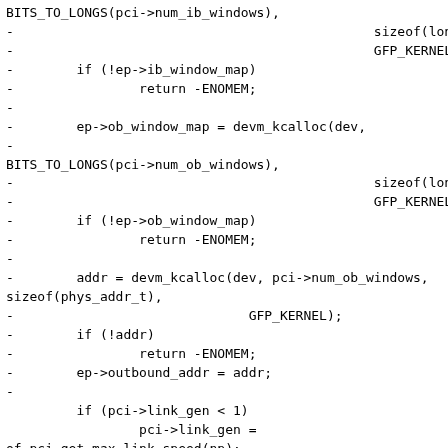BITS_TO_LONGS(pci->num_ib_windows),
-                                              sizeof(long),
-                                              GFP_KERNEL);
-        if (!ep->ib_window_map)
-                return -ENOMEM;
-
-        ep->ob_window_map = devm_kcalloc(dev,
-
BITS_TO_LONGS(pci->num_ob_windows),
-                                              sizeof(long),
-                                              GFP_KERNEL);
-        if (!ep->ob_window_map)
-                return -ENOMEM;
-
-        addr = devm_kcalloc(dev, pci->num_ob_windows,
sizeof(phys_addr_t),
-                              GFP_KERNEL);
-        if (!addr)
-                return -ENOMEM;
-        ep->outbound_addr = addr;
-
         if (pci->link_gen < 1)
                 pci->link_gen =
of_pci_get_max_link_speed(np);

@@ -750,20 +765,6 @@ int dw_pcie_ep_init(struct
dw_pcie_ep *ep)
         if (ret < 0)
                 epc->max_functions = 1;